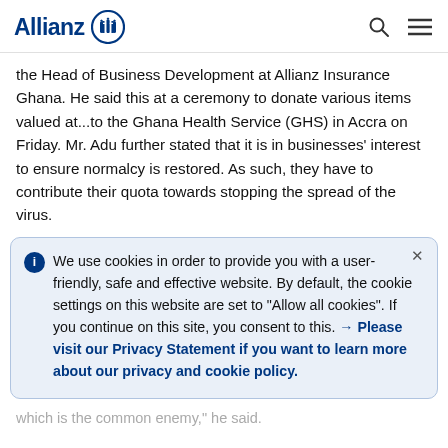Allianz
the Head of Business Development at Allianz Insurance Ghana. He said this at a ceremony to donate various items valued at...to the Ghana Health Service (GHS) in Accra on Friday. Mr. Adu further stated that it is in businesses' interest to ensure normalcy is restored. As such, they have to contribute their quota towards stopping the spread of the virus.
We use cookies in order to provide you with a user-friendly, safe and effective website. By default, the cookie settings on this website are set to "Allow all cookies". If you continue on this site, you consent to this. → Please visit our Privacy Statement if you want to learn more about our privacy and cookie policy.
which is the common enemy," he said.